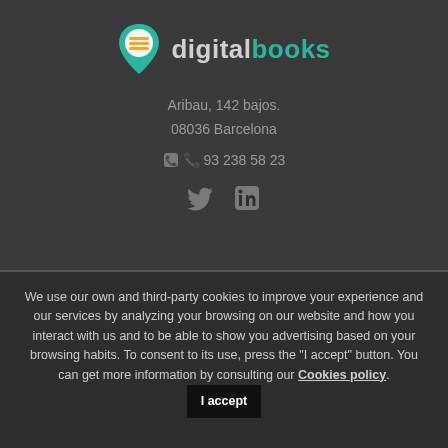[Figure (logo): digitalbooks logo — teal map-pin icon with orange horizontal lines inside, followed by text 'digital' in gray and 'books' in teal]
Aribau, 142 bajos.
08036 Barcelona
📞 93 238 58 23
[Figure (other): Twitter bird icon and LinkedIn square icon in gray]
We use our own and third-party cookies to improve your experience and our services by analyzing your browsing on our website and how you interact with us and to be able to show you advertising based on your browsing habits. To consent to its use, press the "I accept" button. You can get more information by consulting our Cookies policy.  I accept